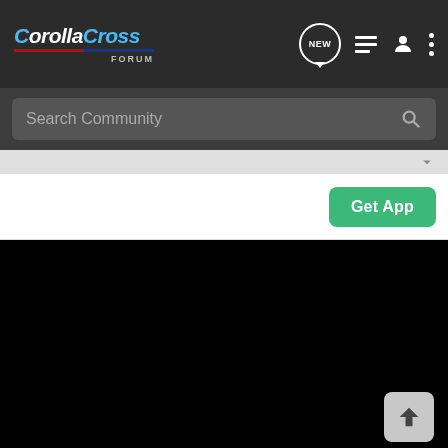CorollaCross FORUM
Search Community
Get App
[Figure (screenshot): Black content area with a back-to-top arrow button in the bottom right corner]